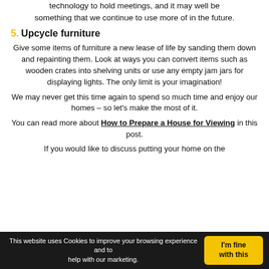technology to hold meetings, and it may well be something that we continue to use more of in the future.
5. Upcycle furniture
Give some items of furniture a new lease of life by sanding them down and repainting them. Look at ways you can convert items such as wooden crates into shelving units or use any empty jam jars for displaying lights. The only limit is your imagination!
We may never get this time again to spend so much time and enjoy our homes – so let's make the most of it.
You can read more about How to Prepare a House for Viewing in this post.
If you would like to discuss putting your home on the
This website uses Cookies to improve your browsing experience and to help with our marketing. I'm fine with this